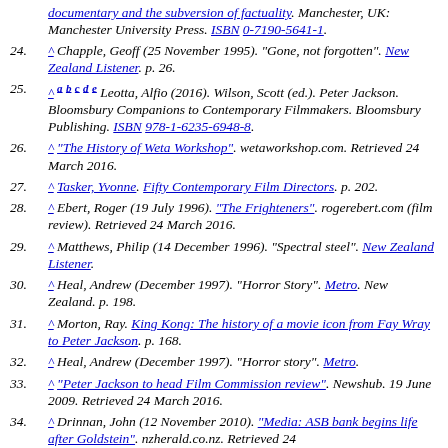(continuation) documentary and the subversion of factuality. Manchester, UK: Manchester University Press. ISBN 0-7190-5641-1.
24. ^ Chapple, Geoff (25 November 1995). "Gone, not forgotten". New Zealand Listener. p. 26.
25. ^ a b c d e Leotta, Alfio (2016). Wilson, Scott (ed.). Peter Jackson. Bloomsbury Companions to Contemporary Filmmakers. Bloomsbury Publishing. ISBN 978-1-6235-6948-8.
26. ^ "The History of Weta Workshop". wetaworkshop.com. Retrieved 24 March 2016.
27. ^ Tasker, Yvonne. Fifty Contemporary Film Directors. p. 202.
28. ^ Ebert, Roger (19 July 1996). "The Frighteners". rogerebert.com (film review). Retrieved 24 March 2016.
29. ^ Matthews, Philip (14 December 1996). "Spectral steel". New Zealand Listener.
30. ^ Heal, Andrew (December 1997). "Horror Story". Metro. New Zealand. p. 198.
31. ^ Morton, Ray. King Kong: The history of a movie icon from Fay Wray to Peter Jackson. p. 168.
32. ^ Heal, Andrew (December 1997). "Horror story". Metro.
33. ^ "Peter Jackson to head Film Commission review". Newshub. 19 June 2009. Retrieved 24 March 2016.
34. ^ Drinnan, John (12 November 2010). "Media: ASB bank begins life after Goldstein". nzherald.co.nz. Retrieved 24